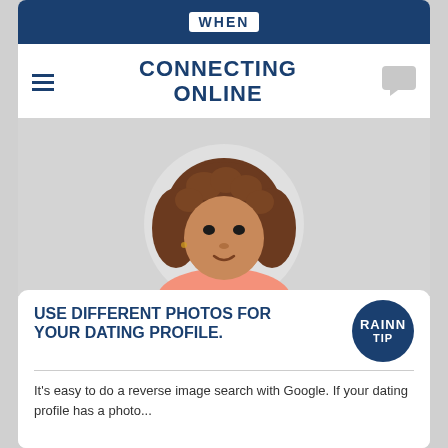WHEN
CONNECTING ONLINE
[Figure (illustration): Illustrated avatar of a woman with curly brown hair and light brown skin wearing a pink top, shown from shoulders up against a circular light gray background, on a gray panel]
USE DIFFERENT PHOTOS FOR YOUR DATING PROFILE.
It's easy to do a reverse image search with Google. If your dating profile has a photo...